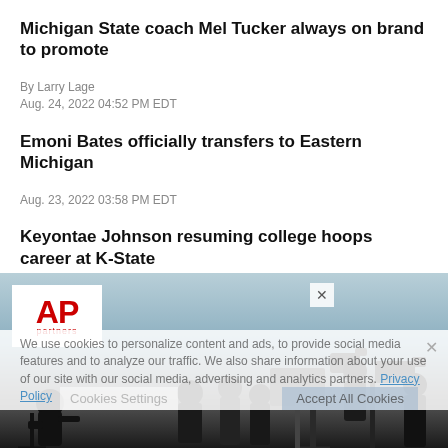Michigan State coach Mel Tucker always on brand to promote
By Larry Lage
Aug. 24, 2022 04:52 PM EDT
Emoni Bates officially transfers to Eastern Michigan
Aug. 23, 2022 03:58 PM EDT
Keyontae Johnson resuming college hoops career at K-State
By Mark Long
Aug. 20, 2022 08:26 PM EDT
We use cookies to personalize content and ads, to provide social media features and to analyze our traffic. We also share information about your use of our site with our social media, advertising and analytics partners. Privacy Policy
[Figure (photo): AP News advertisement banner with AP logo and silhouette of journalists with camera equipment against a blue sky background. Cookie settings and Accept All Cookies buttons visible.]